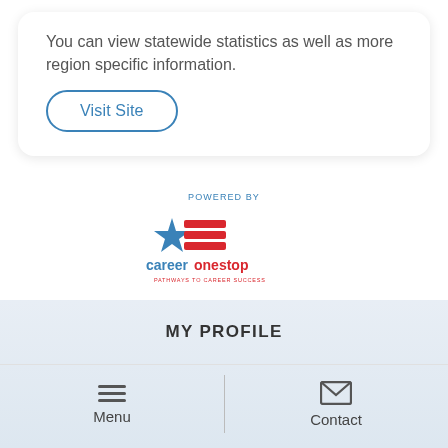You can view statewide statistics as well as more region specific information.
Visit Site
[Figure (logo): CareerOneStop logo — blue star and red flag graphic, with 'careeronestop' text in blue and red, tagline 'PATHWAYS TO CAREER SUCCESS' in red, 'POWERED BY' label above in blue]
MY PROFILE
Menu
Contact